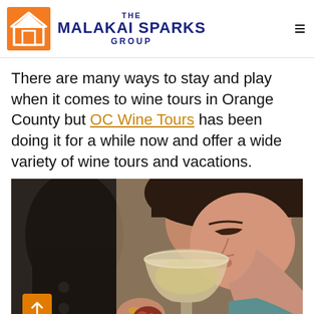THE MALAKAI SPARKS GROUP
There are many ways to stay and play when it comes to wine tours in Orange County but OC Wine Tours has been doing it for a while now and offer a wide variety of wine tours and vacations.
[Figure (photo): A woman smelling/tasting a glass of white wine, eyes closed, holding a small appetizer in her other hand. A person in dark clothing is blurred in the background.]